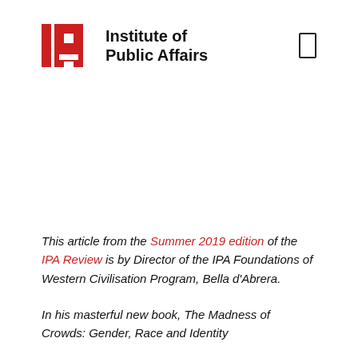[Figure (logo): Institute of Public Affairs logo with red IPA icon and bold black text]
This article from the Summer 2019 edition of the IPA Review is by Director of the IPA Foundations of Western Civilisation Program, Bella d'Abrera.
In his masterful new book, The Madness of Crowds: Gender, Race and Identity